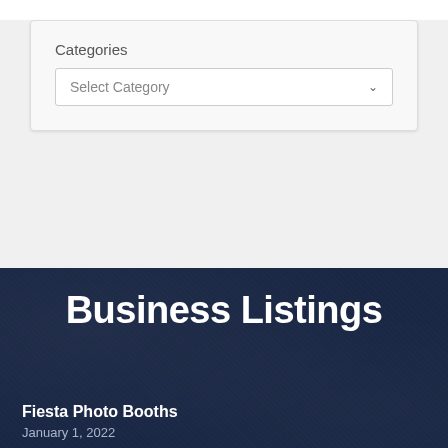Categories
[Figure (screenshot): A dropdown select box with placeholder text 'Select Category' and a chevron arrow on the right]
Business Listings
Fiesta Photo Booths
January 1, 2022